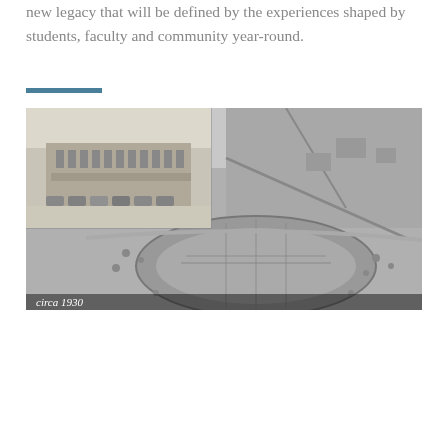new legacy that will be defined by the experiences shaped by students, faculty and community year-round.
[Figure (photo): Black and white aerial photograph of Notre Dame campus circa 1930, showing the football stadium and surrounding grounds. An inset photo in the upper left shows a ground-level view of the stadium facade with vehicles parked outside. Caption reads 'circa 1930'.]
University of Notre Dame is one of the most iconic campuses in the country. UND football has one of the most storied programs in the nation. This